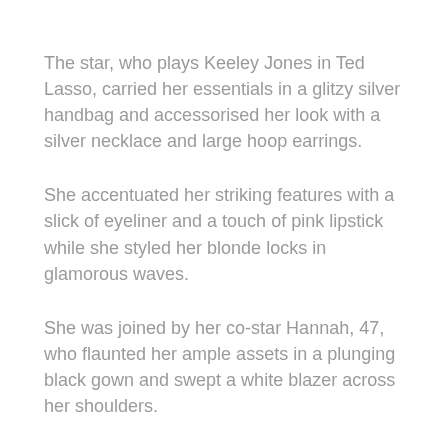The star, who plays Keeley Jones in Ted Lasso, carried her essentials in a glitzy silver handbag and accessorised her look with a silver necklace and large hoop earrings.
She accentuated her striking features with a slick of eyeliner and a touch of pink lipstick while she styled her blonde locks in glamorous waves.
She was joined by her co-star Hannah, 47, who flaunted her ample assets in a plunging black gown and swept a white blazer across her shoulders.
The Sex Education star added a few extra inches to each frame with a pair of pointed heels and clutched a white and gold clutch bag in one hand.